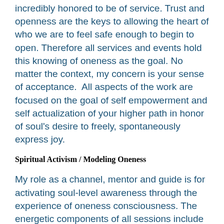incredibly honored to be of service. Trust and openness are the keys to allowing the heart of who we are to feel safe enough to begin to open. Therefore all services and events hold this knowing of oneness as the goal. No matter the context, my concern is your sense of acceptance.  All aspects of the work are focused on the goal of self empowerment and self actualization of your higher path in honor of soul's desire to freely, spontaneously express joy.
Spiritual Activism / Modeling Oneness
My role as a channel, mentor and guide is for activating soul-level awareness through the experience of oneness consciousness. The energetic components of all sessions include the practice of entrainment as an effective way to transform individual, group and global consciousness into a